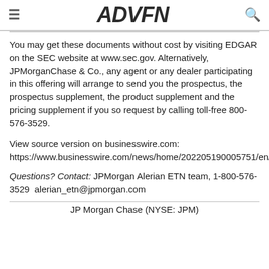ADVFN
You may get these documents without cost by visiting EDGAR on the SEC website at www.sec.gov. Alternatively, JPMorganChase & Co., any agent or any dealer participating in this offering will arrange to send you the prospectus, the prospectus supplement, the product supplement and the pricing supplement if you so request by calling toll-free 800-576-3529.
View source version on businesswire.com: https://www.businesswire.com/news/home/20220519000575 1/en/
Questions? Contact: JPMorgan Alerian ETN team, 1-800-576-3529  alerian_etn@jpmorgan.com
JP Morgan Chase (NYSE: JPM)